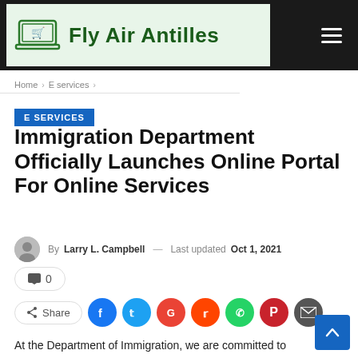Fly Air Antilles
Home > E services >
E SERVICES
Immigration Department Officially Launches Online Portal For Online Services
By Larry L. Campbell — Last updated Oct 1, 2021
0
Share
At the Department of Immigration, we are committed to